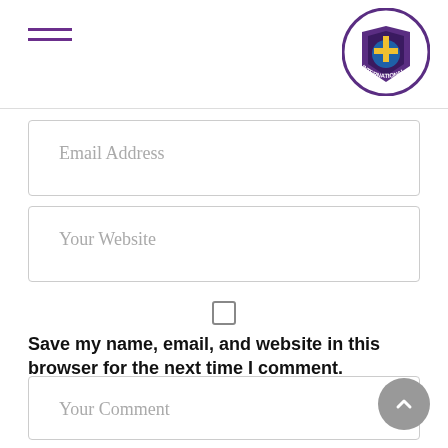Navigation header with hamburger menu and church logo
Email Address
Your Website
Save my name, email, and website in this browser for the next time I comment.
Your Comment